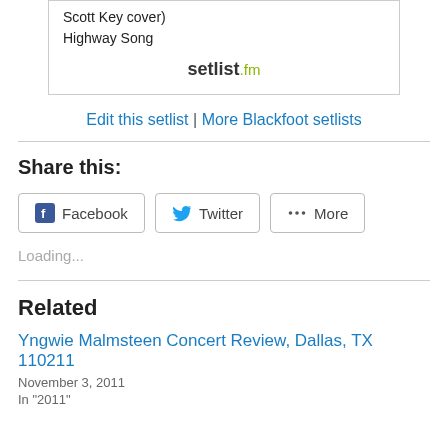[Figure (other): Setlist.fm embed box showing song titles: '...Scott Key cover)' and 'Highway Song', with setlist.fm logo at bottom]
Edit this setlist | More Blackfoot setlists
Share this:
Facebook  Twitter  More
Loading...
Related
Yngwie Malmsteen Concert Review, Dallas, TX 110211
November 3, 2011
In "2011"